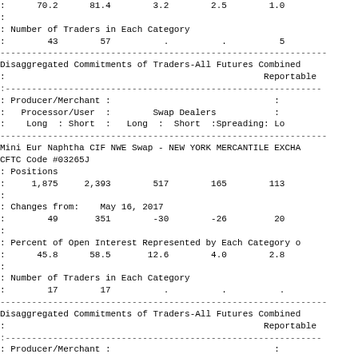| :  | 70.2 | 81.4 | 3.2 | 2.5 | 1.0 |
| : |  |  |  |  |  |
| : Number of Traders in Each Category |  |  |  |  |  |
| : | 43 | 57 | . | . | 5 |
Disaggregated Commitments of Traders-All Futures Combined
:                                                    Reportable
: Producer/Merchant :                               :
:   Processor/User :        Swap Dealers            :
:    Long  : Short :   Long  :  Short  :Spreading:  Lo
Mini Eur Naphtha CIF NWE Swap - NEW YORK MERCANTILE EXCHA
CFTC Code #03265J
: Positions
:     1,875     2,393        517        165        113
:
: Changes from:    May 16, 2017
:        49       351        -30        -26         20
:
: Percent of Open Interest Represented by Each Category o
:      45.8      58.5       12.6        4.0        2.8
:
: Number of Traders in Each Category
:        17        17          .          .          .
Disaggregated Commitments of Traders-All Futures Combined
:                                                    Reportable
: Producer/Merchant :                               :